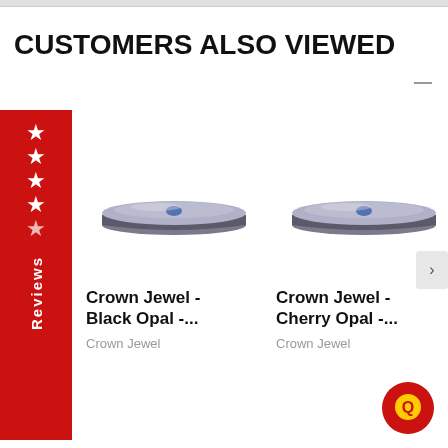CUSTOMERS ALSO VIEWED
[Figure (illustration): Red vertical sidebar with 4 white stars and 'Reviews' text rotated vertically]
[Figure (photo): Crown Jewel Black Opal mattress product image, angled perspective view]
Crown Jewel - Black Opal -...
Crown Jewel
[Figure (photo): Crown Jewel Cherry Opal mattress product image, angled perspective view]
Crown Jewel - Cherry Opal -...
Crown Jewel
[Figure (logo): Red circular chat/review icon with Q letter in white]